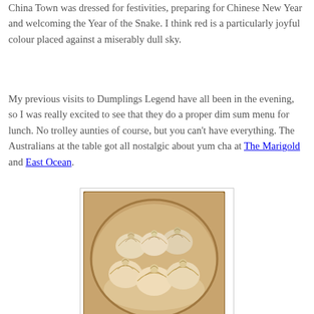China Town was dressed for festivities, preparing for Chinese New Year and welcoming the Year of the Snake. I think red is a particularly joyful colour placed against a miserably dull sky.
My previous visits to Dumplings Legend have all been in the evening, so I was really excited to see that they do a proper dim sum menu for lunch. No trolley aunties of course, but you can't have everything. The Australians at the table got all nostalgic about yum cha at The Marigold and East Ocean.
[Figure (photo): A bamboo steamer basket filled with several steamed dumplings (xiaolongbao/soup dumplings), viewed from above at a slight angle, with a light-colored wooden steamer base visible.]